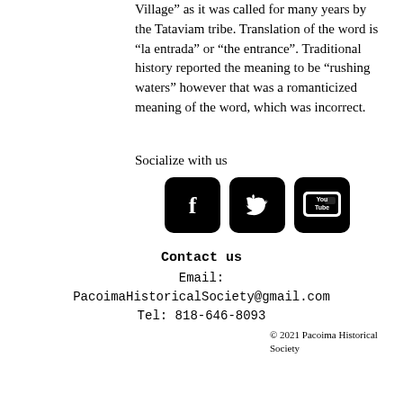Village” as it was called for many years by the Tataviam tribe. Translation of the word is “la entrada” or “the entrance”. Traditional history reported the meaning to be “rushing waters” however that was a romanticized meaning of the word, which was incorrect.
Socialize with us
[Figure (other): Social media icons: Facebook, Twitter, YouTube]
Contact us
Email:
PacoimaHistoricalSociety@gmail.com
Tel: 818-646-8093
© 2021 Pacoima Historical Society